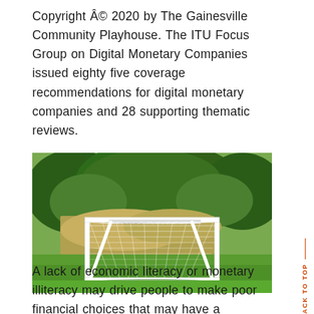Copyright © 2020 by The Gainesville Community Playhouse. The ITU Focus Group on Digital Monetary Companies issued eighty five coverage recommendations for digital monetary companies and 28 supporting thematic reviews.
[Figure (photo): A white metal soccer goal net on a green grass field with trees and bushes in the background.]
A lack of economic literacy or monetary illiteracy may drive people to make poor financial choices that may have a detrimental affect on the